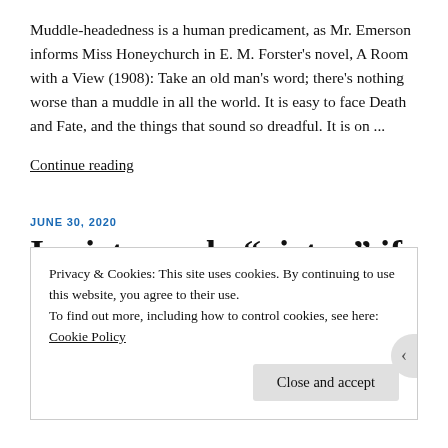Muddle-headedness is a human predicament, as Mr. Emerson informs Miss Honeychurch in E. M. Forster's novel, A Room with a View (1908): Take an old man's word; there's nothing worse than a muddle in all the world. It is easy to face Death and Fate, and the things that sound so dreadful. It is on ...
Continue reading
JUNE 30, 2020
Is virtue only “virtue” if it be
Privacy & Cookies: This site uses cookies. By continuing to use this website, you agree to their use.
To find out more, including how to control cookies, see here:
Cookie Policy
Close and accept